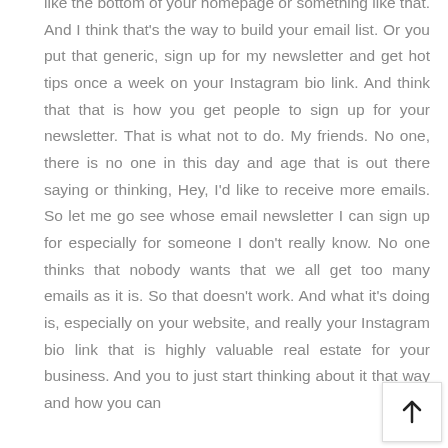like the bottom of your homepage or something like that. And I think that's the way to build your email list. Or you put that generic, sign up for my newsletter and get hot tips once a week on your Instagram bio link. And think that that is how you get people to sign up for your newsletter. That is what not to do. My friends. No one, there is no one in this day and age that is out there saying or thinking, Hey, I'd like to receive more emails. So let me go see whose email newsletter I can sign up for especially for someone I don't really know. No one thinks that nobody wants that we all get too many emails as it is. So that doesn't work. And what it's doing is, especially on your website, and really your Instagram bio link that is highly valuable real estate for your business. And you to just start thinking about it that way and how you can